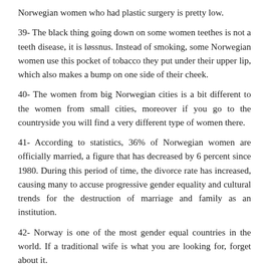Norwegian women who had plastic surgery is pretty low.
39- The black thing going down on some women teethes is not a teeth disease, it is løssnus. Instead of smoking, some Norwegian women use this pocket of tobacco they put under their upper lip, which also makes a bump on one side of their cheek.
40- The women from big Norwegian cities is a bit different to the women from small cities, moreover if you go to the countryside you will find a very different type of women there.
41- According to statistics, 36% of Norwegian women are officially married, a figure that has decreased by 6 percent since 1980. During this period of time, the divorce rate has increased, causing many to accuse progressive gender equality and cultural trends for the destruction of marriage and family as an institution.
42- Norway is one of the most gender equal countries in the world. If a traditional wife is what you are looking for, forget about it.
Some dating tips